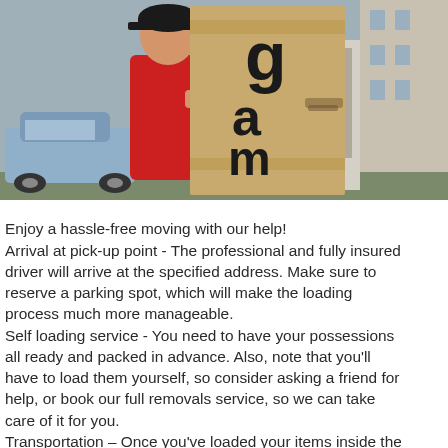[Figure (photo): A person wearing a red shirt and dark cap carrying a large cardboard box with 'game' text visible, loading it into a vehicle. A car and building are visible in the background.]
Enjoy a hassle-free moving with our help! Arrival at pick-up point - The professional and fully insured driver will arrive at the specified address. Make sure to reserve a parking spot, which will make the loading process much more manageable. Self loading service - You need to have your possessions all ready and packed in advance. Also, note that you'll have to load them yourself, so consider asking a friend for help, or book our full removals service, so we can take care of it for you. Transportation – Once you've loaded your items inside the